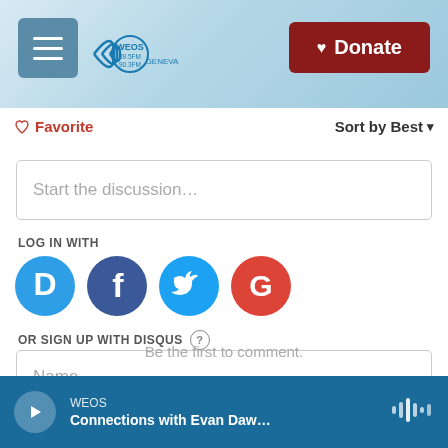[Figure (screenshot): WEOS radio station header with hamburger menu button, WEOS 89.5FM / 90.3FM Geneva logo, and dark red Donate button with heart icon. Background has a teal/blue graphic overlay.]
♡ Favorite
Sort by Best ▾
Start the discussion…
LOG IN WITH
[Figure (illustration): Four social login icon circles: Disqus (blue D), Facebook (dark blue f), Twitter (light blue bird), Google (red G)]
OR SIGN UP WITH DISQUS ?
Name
Be the first to comment.
WEOS  Connections with Evan Daw…